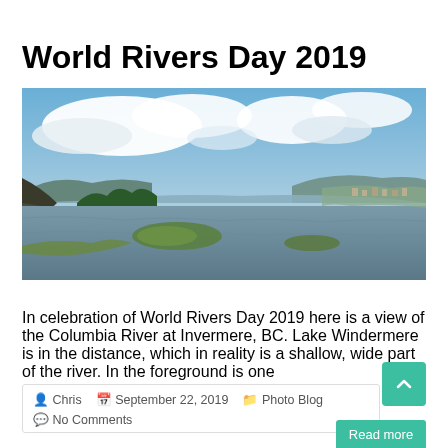World Rivers Day 2019
[Figure (photo): Aerial view of the Columbia River at Invermere, BC with Lake Windermere in the distance, showing wide shallow river with green islets, forested banks, and dramatic cloudy sky.]
In celebration of World Rivers Day 2019 here is a view of the Columbia River at Invermere, BC. Lake Windermere is in the distance, which in reality is a shallow, wide part of the river. In the foreground is one
Chris   September 22, 2019   Photo Blog
No Comments